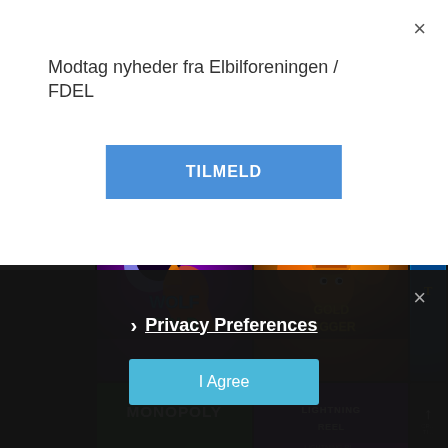Modtag nyheder fra Elbilforeningen / FDEL
TILMELD
[Figure (screenshot): Casino game grid showing Dragon's Element, Wild Diamond 7x, Wolf Gold, Gold Digger, Monopoly, and other partially visible slot game thumbnails on a dark background]
Dragon's Element
Wild Diamond 7x
WOLF GOLD
GOLD DIGGER
MONOPOLY
Privacy Preferences
I Agree